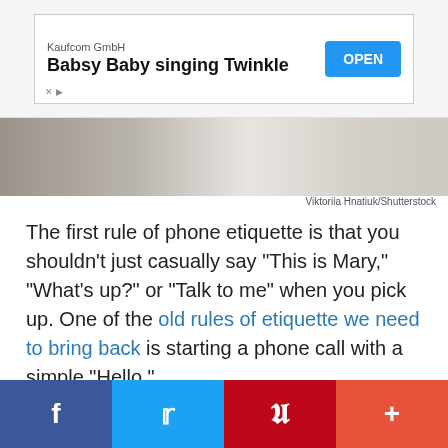[Figure (other): Advertisement banner for Kaufcom GmbH app 'Babsy Baby singing Twinkle' with an OPEN button]
[Figure (photo): Partial photo strip showing blurred people in background, photo by Viktoriia Hnatiuk/Shutterstock]
Viktoriia Hnatiuk/Shutterstock
The first rule of phone etiquette is that you shouldn’t just casually say “This is Mary,” “What’s up?” or “Talk to me” when you pick up. One of the old rules of etiquette we need to bring back is starting a phone call with a simple “Hello.”
[Figure (other): Social sharing bar with Facebook, Twitter, Pinterest, and More buttons]